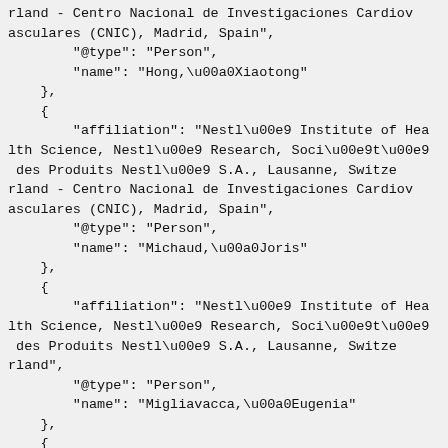rland - Centro Nacional de Investigaciones Cardiovasculares (CNIC), Madrid, Spain",
        "@type": "Person",
        "name": "Hong,\u00a0Xiaotong"
    },
    {
        "affiliation": "Nestl\u00e9 Institute of Health Science, Nestl\u00e9 Research, Soci\u00e9t\u00e9 des Produits Nestl\u00e9 S.A., Lausanne, Switzerland - Centro Nacional de Investigaciones Cardiovasculares (CNIC), Madrid, Spain",
        "@type": "Person",
        "name": "Michaud,\u00a0Joris"
    },
    {
        "affiliation": "Nestl\u00e9 Institute of Health Science, Nestl\u00e9 Research, Soci\u00e9t\u00e9 des Produits Nestl\u00e9 S.A., Lausanne, Switzerland",
        "@type": "Person",
        "name": "Migliavacca,\u00a0Eugenia"
    },
    {
        "affiliation": "Nestl\u00e9 Institute of Hea